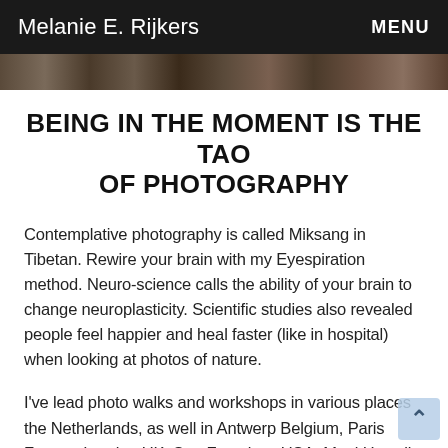Melanie E. Rijkers  MENU
[Figure (photo): Partial photograph strip visible at top of page below navigation header]
BEING IN THE MOMENT IS THE TAO OF PHOTOGRAPHY
Contemplative photography is called Miksang in Tibetan. Rewire your brain with my Eyespiration method. Neuro-science calls the ability of your brain to change neuroplasticity. Scientific studies also revealed people feel happier and heal faster (like in hospital) when looking at photos of nature.
I've lead photo walks and workshops in various places the Netherlands, as well in Antwerp Belgium, Paris France, London UK, San Francisco USA, Maui Hawaii. I even lead Eyespiration walks onboard a cruise